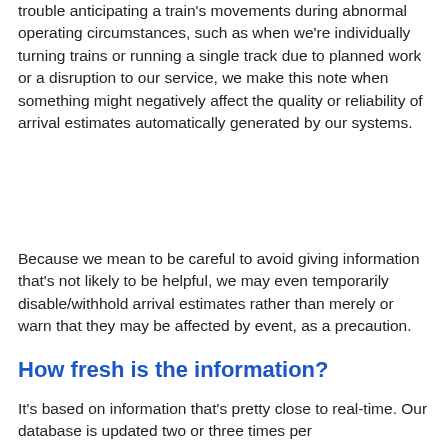trouble anticipating a train's movements during abnormal operating circumstances, such as when we're individually turning trains or running a single track due to planned work or a disruption to our service, we make this note when something might negatively affect the quality or reliability of arrival estimates automatically generated by our systems.
Because we mean to be careful to avoid giving information that's not likely to be helpful, we may even temporarily disable/withhold arrival estimates rather than merely or warn that they may be affected by event, as a precaution.
How fresh is the information?
It's based on information that's pretty close to real-time. Our database is updated two or three times per